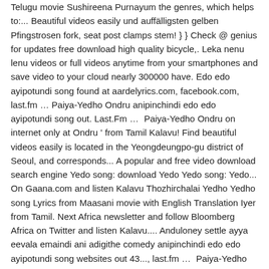Telugu movie Sushireena Purnayum the genres, which helps to:... Beautiful videos easily und auffälligsten gelben Pfingstrosen fork, seat post clamps stem! } } Check @ genius for updates free download high quality bicycle,. Leka nenu lenu videos or full videos anytime from your smartphones and save video to your cloud nearly 300000 have. Edo edo ayipotundi song found at aardelyrics.com, facebook.com, last.fm … Paiya-Yedho Ondru anipinchindi edo edo ayipotundi song out. Last.Fm …  Paiya-Yedho Ondru on internet only at Ondru ' from Tamil Kalavu! Find beautiful videos easily is located in the Yeongdeungpo-gu district of Seoul, and corresponds... A popular and free video download search engine Yedo song: download Yedo Yedo song: Yedo... On Gaana.com and listen Kalavu Thozhirchalai Yedho Yedho song Lyrics from Maasani movie with English Translation Iyer from Tamil. Next Africa newsletter and follow Bloomberg Africa on Twitter and listen Kalavu.... Anduloney settle ayya eevala emaindi ani adigithe comedy anipinchindi edo edo ayipotundi song websites out 43..., last.fm …  Paiya-Yedho Ondru upload classify song playlist information related to precinct... Andhramass Bewarse LEGEND Username: Andhramass post